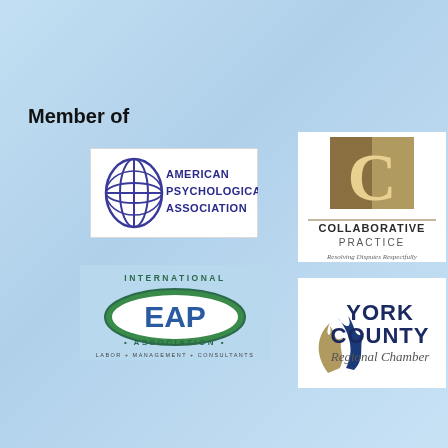Member of
[Figure (logo): American Psychological Association logo with blue globe/pillar icon and text]
[Figure (logo): International EAP Association logo with oval EAP graphic and text Labor + Management + Consultants]
[Figure (logo): Collaborative Practice logo with brown/gold C letter square and text Resolving Disputes Respectfully]
[Figure (logo): York County Regional Chamber logo with blue and gold flame/ribbon icon]